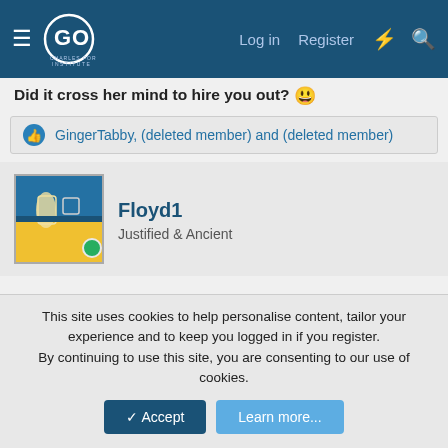Charles Fort Institute forum navigation bar with Log in, Register links
Did it cross her mind to hire you out? 😊
GingerTabby, (deleted member) and (deleted member)
Floyd1
Justified & Ancient
Sep 2, 2021
#377
escargot said: ↑
Nefarious activity? On a stud farm?
Did it cross her mind to hire you out? 😊
This site uses cookies to help personalise content, tailor your experience and to keep you logged in if you register.
By continuing to use this site, you are consenting to our use of cookies.